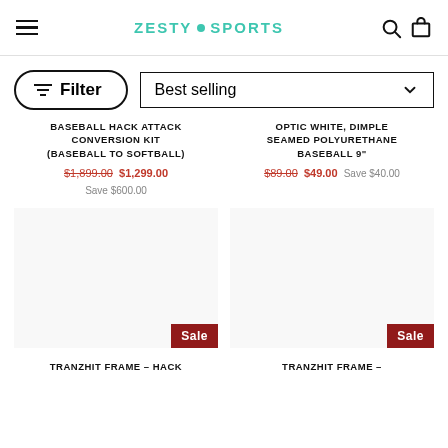ZESTY SPORTS
Filter
Best selling
BASEBALL HACK ATTACK CONVERSION KIT (BASEBALL TO SOFTBALL)
$1,899.00 $1,299.00
Save $600.00
OPTIC WHITE, DIMPLE SEAMED POLYURETHANE BASEBALL 9"
$89.00 $49.00 Save $40.00
[Figure (other): Product image area with Sale badge for Baseball Hack Attack Conversion Kit]
[Figure (other): Product image area with Sale badge for Optic White Dimple Seamed Polyurethane Baseball]
TRANZHIT FRAME – HACK
TRANZHIT FRAME –